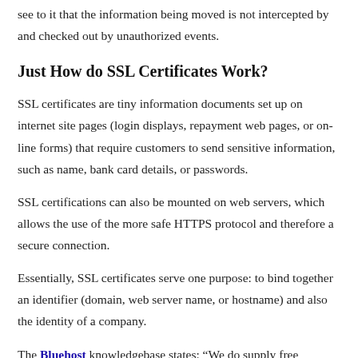see to it that the information being moved is not intercepted by and checked out by unauthorized events.
Just How do SSL Certificates Work?
SSL certificates are tiny information documents set up on internet site pages (login displays, repayment web pages, or on-line forms) that require customers to send sensitive information, such as name, bank card details, or passwords.
SSL certifications can also be mounted on web servers, which allows the use of the more safe HTTPS protocol and therefore a secure connection.
Essentially, SSL certificates serve one purpose: to bind together an identifier (domain, web server name, or hostname) and also the identity of a company.
The Bluehost knowledgebase states: “We do supply free backups